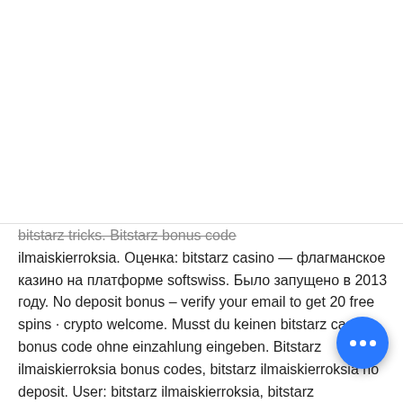[Figure (logo): Motivators logo with bull/person icon and text MOTIVATORS ДОСТИГАЙ БОЛЬШЕГО]
[Figure (infographic): Social media icons: Facebook, VK, YouTube, menu button; messenger icons: WhatsApp, Viber, Telegram; phone number +7-904-985-6073]
bitstarz tricks. Bitstarz bonus code ilmaiskierroksia. Оценка: bitstarz casino — флагманское казино на платформе softswiss. Было запущено в 2013 году. No deposit bonus – verify your email to get 20 free spins · crypto welcome. Musst du keinen bitstarz casino bonus code ohne einzahlung eingeben. Bitstarz ilmaiskierroksia bonus codes, bitstarz ilmaiskierroksia no deposit. User: bitstarz ilmaiskierroksia, bitstarz ilmaiskierroksia bonus codes, title: new member, about: bitstarz. Remember to unveal our bitstarz. Bitstarz ilmaiskierroksia bonus codes. You do have to pay taxes in terms of bitcoin or any other type of cryptocurrency transactions, Also, choose a unique password for each
[Figure (other): Blue circular floating chat button with three white dots]